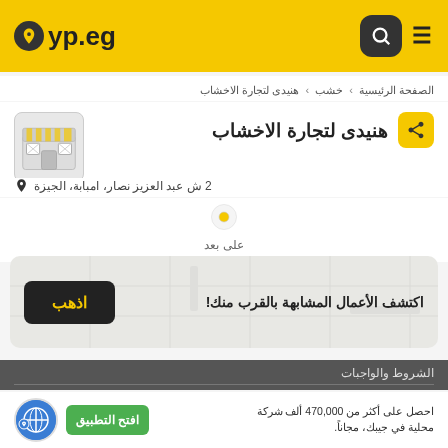ayp.eg
الصفحة الرئيسية > خشب > هنيدى لتجارة الاخشاب
هنيدى لتجارة الاخشاب
2 ش عبد العزيز نصار، امبابة، الجيزة
على بعد
اكتشف الأعمال المشابهة بالقرب منك!
اذهب
الشروط والواجبات
احصل على أكثر من 470,000 ألف شركة محلية في جيبك، مجاناً.
افتح التطبيق